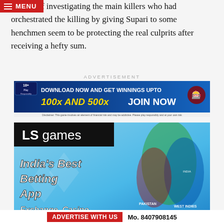instead of investigating the main killers who had orchestrated the killing by giving Supari to some henchmen seem to be protecting the real culprits after receiving a hefty sum.
ADVERTISEMENT
[Figure (infographic): Online gaming ad banner: '18+ Play Responsibly. DOWNLOAD NOW AND GET WINNINGS UPTO 100x AND 500x JOIN NOW'. Disclaimer text below.]
[Figure (infographic): LS games advertisement banner showing cricket players with text: India's Best Betting App, Exchange, Casino]
ADVERTISE WITH US   Mo. 8407908145